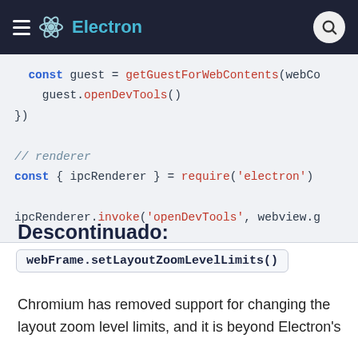Electron
const guest = getGuestForWebContents(webCo
  guest.openDevTools()
})

// renderer
const { ipcRenderer } = require('electron')

ipcRenderer.invoke('openDevTools', webview.g
Descontinuado:
webFrame.setLayoutZoomLevelLimits()
Chromium has removed support for changing the layout zoom level limits, and it is beyond Electron's